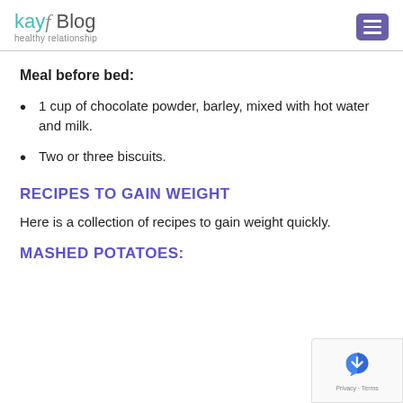kayf Blog - healthy relationship
Meal before bed:
1 cup of chocolate powder, barley, mixed with hot water and milk.
Two or three biscuits.
RECIPES TO GAIN WEIGHT
Here is a collection of recipes to gain weight quickly.
MASHED POTATOES: